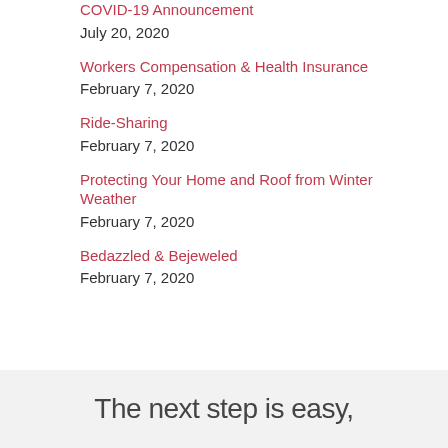COVID-19 Announcement
July 20, 2020
Workers Compensation & Health Insurance
February 7, 2020
Ride-Sharing
February 7, 2020
Protecting Your Home and Roof from Winter Weather
February 7, 2020
Bedazzled & Bejeweled
February 7, 2020
The next step is easy,